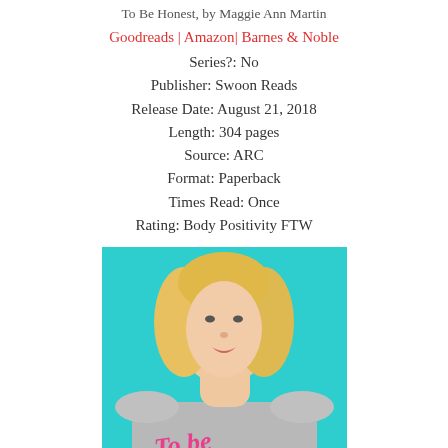To Be Honest, by Maggie Ann Martin
Goodreads | Amazon | Barnes & Noble
Series?: No
Publisher: Swoon Reads
Release Date: August 21, 2018
Length: 304 pages
Source: ARC
Format: Paperback
Times Read: Once
Rating: Body Positivity FTW
[Figure (photo): Book cover of 'To Be Honest' by Maggie Ann Martin. A young blonde woman in a gray off-shoulder top on a teal/turquoise background. Pink cursive text 'To Be' visible on the cover.]